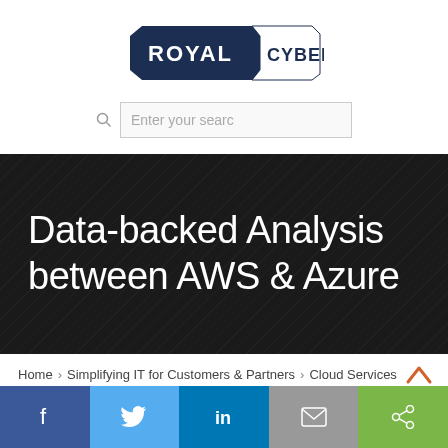[Figure (logo): Royal Cyber logo — dark navy hexagon-cut rectangle with ROYAL in bold white, CYBER in dark navy on white panel with angled cuts]
[Figure (screenshot): Search bar with magnifying glass icon and placeholder text 'Enter your searc']
Data-backed Analysis between AWS & Azure
Home > Simplifying IT for Customers & Partners > Cloud Services
November 23, 2018
[Figure (infographic): Social media sharing bar with Facebook, Twitter, LinkedIn, Email, and Share buttons]